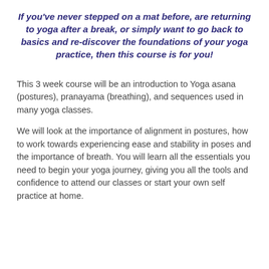If you've never stepped on a mat before, are returning to yoga after a break, or simply want to go back to basics and re-discover the foundations of your yoga practice, then this course is for you!
This 3 week course will be an introduction to Yoga asana (postures), pranayama (breathing), and sequences used in many yoga classes.
We will look at the importance of alignment in postures, how to work towards experiencing ease and stability in poses and the importance of breath. You will learn all the essentials you need to begin your yoga journey, giving you all the tools and confidence to attend our classes or start your own self practice at home.